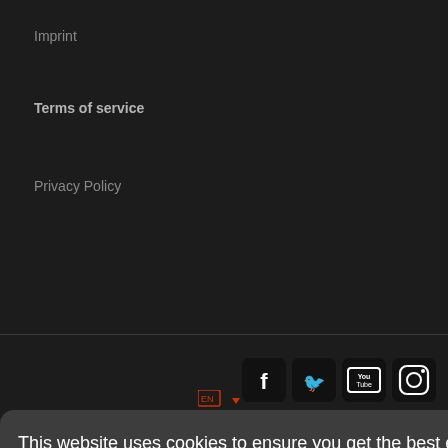Imprint
Terms of service
Privacy Policy
[Figure (screenshot): Social media icons: Facebook, Twitter, YouTube, Instagram]
[Figure (screenshot): Language selector icon with dropdown arrow in orange/red]
This website uses cookies to ensure you get the best experience on our website. Learn more
Accept essential cookies
Accept all cookies
[Figure (screenshot): WhatsApp green circular button]
gang